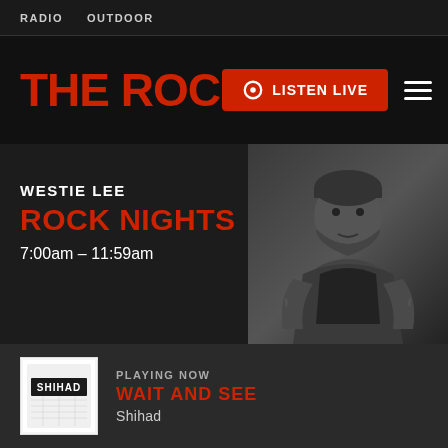RADIO   OUTDOOR
[Figure (logo): THE ROCK. logo in bold red text with a red LISTEN LIVE button and hamburger menu icon]
WESTIE LEE
ROCK NIGHTS
7:00am - 11:59am
[Figure (photo): Black and white photo of Westie Lee, a large bearded man in a sleeveless denim vest]
PLAYING NOW
WAIT AND SEE
Shihad
[Figure (photo): Shihad album art thumbnail showing SHIHAD text logo]
[Figure (photo): Red-tinted promotional image showing a person in a hard hat with ROCK lettering visible, construction crane in background]